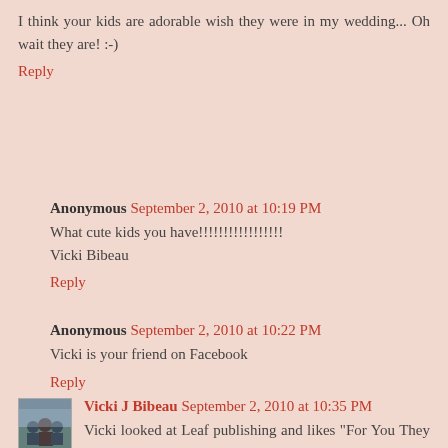I think your kids are adorable wish they were in my wedding... Oh wait they are! :-)
Reply
Anonymous September 2, 2010 at 10:19 PM
What cute kids you have!!!!!!!!!!!!!!!!! Vicki Bibeau
Reply
Anonymous September 2, 2010 at 10:22 PM
Vicki is your friend on Facebook
Reply
Vicki J Bibeau September 2, 2010 at 10:35 PM
Vicki looked at Leaf publishing and likes "For You They Signed"